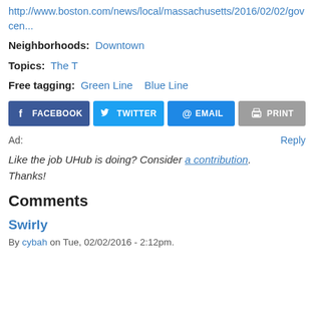http://www.boston.com/news/local/massachusetts/2016/02/02/gov...cen...
Neighborhoods: Downtown
Topics: The T
Free tagging: Green Line  Blue Line
[Figure (other): Social share buttons: Facebook, Twitter, Email, Print]
Ad:    Reply
Like the job UHub is doing? Consider a contribution. Thanks!
Comments
Swirly
By cybah on Tue, 02/02/2016 - 2:12pm.